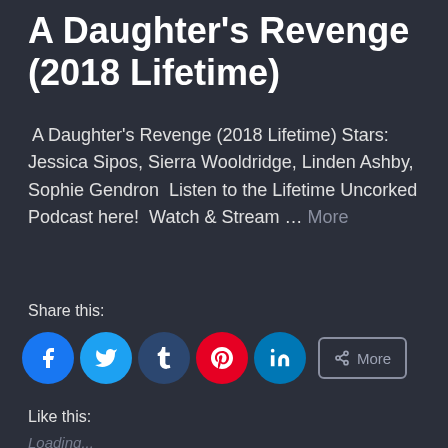A Daughter's Revenge (2018 Lifetime)
A Daughter's Revenge (2018 Lifetime) Stars:  Jessica Sipos, Sierra Wooldridge, Linden Ashby, Sophie Gendron  Listen to the Lifetime Uncorked Podcast here!  Watch & Stream … More
Share this:
[Figure (other): Social sharing buttons: Facebook, Twitter, Tumblr, Pinterest, LinkedIn, and a More button]
Like this:
Loading...
#2018, #A Daughter's Revenge, #🍷🍷, #Jessica Sipos, #lifetime Movie, #lifetime Movie Network, #lifetime Add